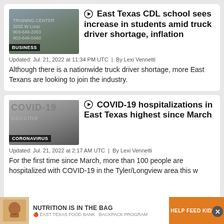[Figure (photo): Photo of a CDL training center sign with badge reading BUSINESS]
East Texas CDL school sees increase in students amid truck driver shortage, inflation
Updated: Jul. 21, 2022 at 11:34 PM UTC  |  By Lexi Vennetti
Although there is a nationwide truck driver shortage, more East Texans are looking to join the industry.
[Figure (photo): Photo related to COVID-19 vaccine with badge reading CORONAVIRUS]
COVID-19 hospitalizations in East Texas highest since March
Updated: Jul. 21, 2022 at 2:17 AM UTC  |  By Lexi Vennetti
For the first time since March, more than 100 people are hospitalized with COVID-19 in the Tyler/Longview area this w...
[Figure (infographic): Ad banner: NUTRITION IS IN THE BAG - EAST TEXAS FOOD BANK BACKPACK PROGRAM | HELP FEED KIDS →]